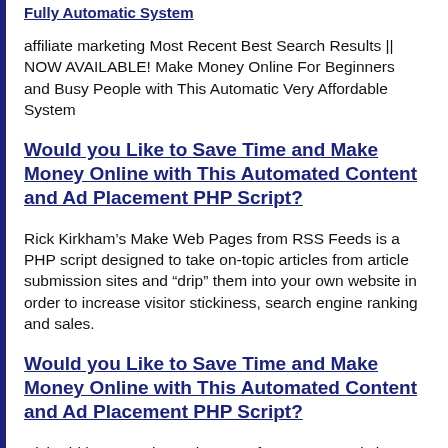Fully Automatic System
affiliate marketing Most Recent Best Search Results || NOW AVAILABLE! Make Money Online For Beginners and Busy People with This Automatic Very Affordable System
Would you Like to Save Time and Make Money Online with This Automated Content and Ad Placement PHP Script?
Rick Kirkham’s Make Web Pages from RSS Feeds is a PHP script designed to take on-topic articles from article submission sites and “drip” them into your own website in order to increase visitor stickiness, search engine ranking and sales.
Would you Like to Save Time and Make Money Online with This Automated Content and Ad Placement PHP Script?
Rick Kirkham’s Make Web Pages from RSS Feeds is a PHP script designed to take on-topic articles from article submission sites and “drip” them into your own website in